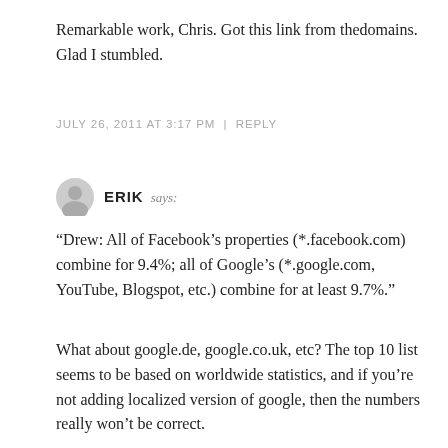Remarkable work, Chris. Got this link from thedomains. Glad I stumbled.
JULY 26, 2011 AT 3:17 PM | REPLY
ERIK says:
“Drew: All of Facebook’s properties (*.facebook.com) combine for 9.4%; all of Google’s (*.google.com, YouTube, Blogspot, etc.) combine for at least 9.7%.”
What about google.de, google.co.uk, etc? The top 10 list seems to be based on worldwide statistics, and if you’re not adding localized version of google, then the numbers really won’t be correct.